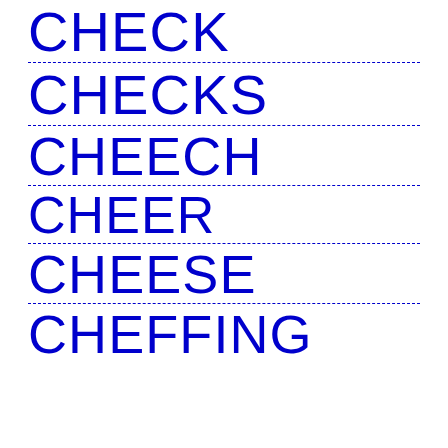CHECK
CHECKS
CHEECH
CHEER
CHEESE
CHEFFING